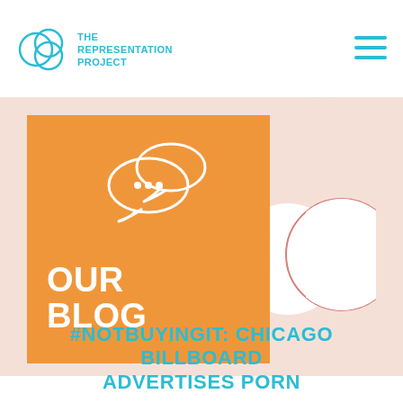THE REPRESENTATION PROJECT
[Figure (illustration): Orange square banner with chat bubble icon and text 'OUR BLOG', set against a light peach background with decorative circles on the right side.]
#NOTBUYINGIT: CHICAGO BILLBOARD ADVERTISES PORN